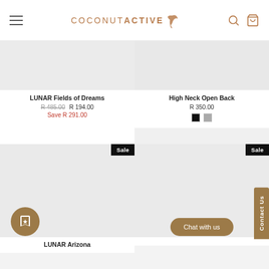COCONUTACTIVE
LUNAR Fields of Dreams
R 485.00  R 194.00  Save R 291.00
High Neck Open Back  R 350.00
LUNAR Arizona
Chat with us
Contact Us